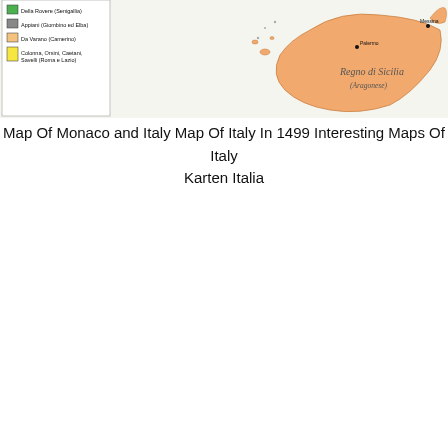[Figure (map): Historical map of Italy circa 1499 showing the 'Regno di Sicilia (Aragonese)' in orange/peach, with a legend in the upper left listing colored regions: Della Rovere (Senigallia) in green, Appiani (Giombino ed Elba) in gray, Da Varano (Camerino) in light orange, Colonna, Orsini, Caetani, Savelli (Roma e Lazio) in yellow.]
Map Of Monaco and Italy Map Of Italy In 1499 Interesting Maps Of Italy Karten Italia